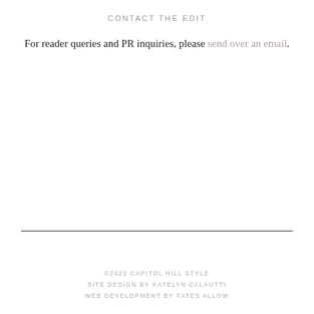CONTACT THE EDIT
For reader queries and PR inquiries, please send over an email.
©2022 CAPITOL HILL STYLE
SITE DESIGN BY KATELYN CALAUTTI
WEB DEVELOPMENT BY FATES ALLOW